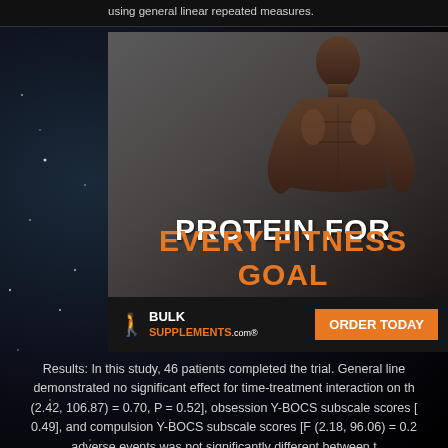using general linear repeated measures.
[Figure (photo): Advertisement for BulkSupplements.com showing a muscular shirtless man with text 'PROTEIN FOR EVERY FITNESS GOAL' and an 'ORDER TODAY' button.]
Results: In this study, 46 patients completed the trial. General line demonstrated no significant effect for time-treatment interaction on th (2.42, 106.87) = 0.70, P = 0.52], obsession Y-BOCS subscale scores [ 0.49], and compulsion Y-BOCS subscale scores [F (2.18, 96.06) = 0.2 adverse events was not significantly different between t